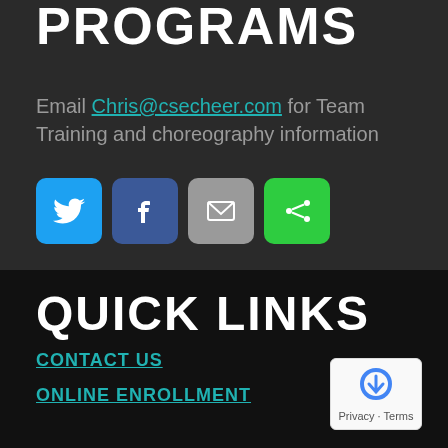PROGRAMS
Email Chris@csecheer.com for Team Training and choreography information
[Figure (infographic): Four social sharing buttons: Twitter (blue bird icon), Facebook (blue f icon), Email (grey envelope icon), Share (green share icon)]
QUICK LINKS
CONTACT US
ONLINE ENROLLMENT
[Figure (logo): Google reCAPTCHA badge with reCAPTCHA logo and Privacy · Terms text]